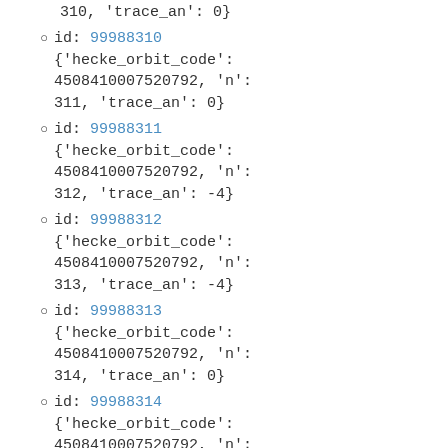310, 'trace_an': 0}
id: 99988310
{'hecke_orbit_code': 4508410007520792, 'n': 311, 'trace_an': 0}
id: 99988311
{'hecke_orbit_code': 4508410007520792, 'n': 312, 'trace_an': -4}
id: 99988312
{'hecke_orbit_code': 4508410007520792, 'n': 313, 'trace_an': -4}
id: 99988313
{'hecke_orbit_code': 4508410007520792, 'n': 314, 'trace_an': 0}
id: 99988314
{'hecke_orbit_code': 4508410007520792, 'n':